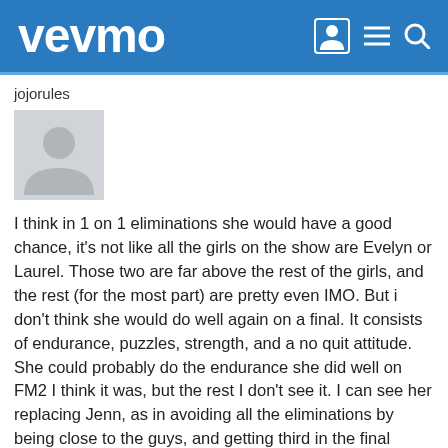vevmo
jojorules
[Figure (illustration): Default user avatar placeholder: grey square with a silhouette of a person (head and shoulders)]
I think in 1 on 1 eliminations she would have a good chance, it's not like all the girls on the show are Evelyn or Laurel. Those two are far above the rest of the girls, and the rest (for the most part) are pretty even IMO. But i don't think she would do well again on a final. It consists of endurance, puzzles, strength, and a no quit attitude. She could probably do the endurance she did well on FM2 I think it was, but the rest I don't see it. I can see her replacing Jenn, as in avoiding all the eliminations by being close to the guys, and getting third in the final everytime. When things get tough on future challenges, I